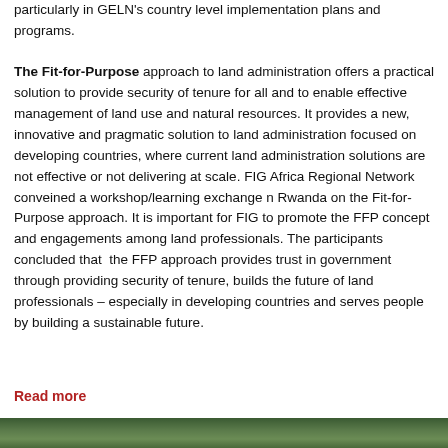particularly in GELN's country level implementation plans and programs.
The Fit-for-Purpose approach to land administration offers a practical solution to provide security of tenure for all and to enable effective management of land use and natural resources. It provides a new, innovative and pragmatic solution to land administration focused on developing countries, where current land administration solutions are not effective or not delivering at scale. FIG Africa Regional Network conveined a workshop/learning exchange n Rwanda on the Fit-for-Purpose approach. It is important for FIG to promote the FFP concept and engagements among land professionals. The participants concluded that the FFP approach provides trust in government through providing security of tenure, builds the future of land professionals – especially in developing countries and serves people by building a sustainable future.
Read more
[Figure (photo): Photograph of tropical vegetation/trees, partially visible at bottom of page]